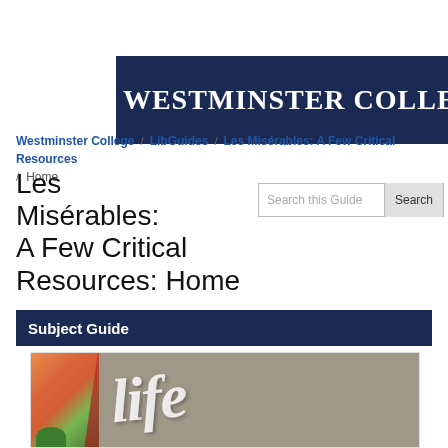[Figure (logo): Westminster College header banner with white text on dark navy blue background]
Westminster College / LibGuides / Les Misérables: A Few Critical Resources / Home
Les Misérables: A Few Critical Resources: Home
Subject Guide
[Figure (photo): Graffiti mural image showing colorful street art on the left and the word 'life' written in white letters on a concrete wall]